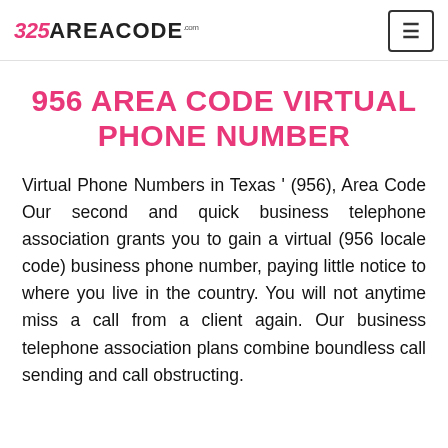325AREACODE.com
956 AREA CODE VIRTUAL PHONE NUMBER
Virtual Phone Numbers in Texas ' (956), Area Code Our second and quick business telephone association grants you to gain a virtual (956 locale code) business phone number, paying little notice to where you live in the country. You will not anytime miss a call from a client again. Our business telephone association plans combine boundless call sending and call obstructing.